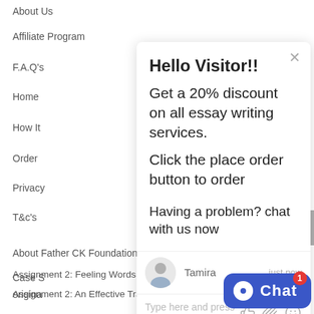About Us
Affiliate Program
F.A.Q's
Home
How It
Order
Privacy
T&c's
Hello Visitor!!
Get a 20% discount on all essay writing services.
Click the place order button to order
Having a problem? chat with us now
Tamira
just now
Type here and press enter..
About Father CK Foundation
Case S
origina
Assignment 2: Feeling Words and Encouragement
Assignment 2: An Effective Training Evaluation